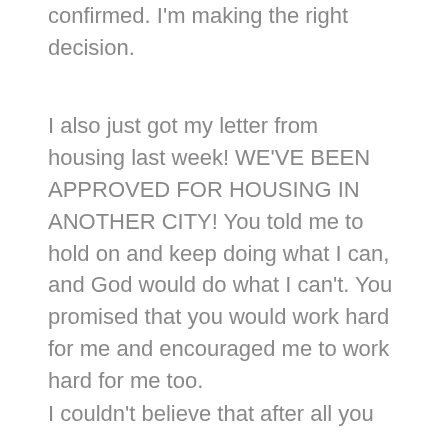confirmed. I'm making the right decision.
I also just got my letter from housing last week! WE'VE BEEN APPROVED FOR HOUSING IN ANOTHER CITY! You told me to hold on and keep doing what I can, and God would do what I can't. You promised that you would work hard for me and encouraged me to work hard for me too.
I couldn't believe that after all you